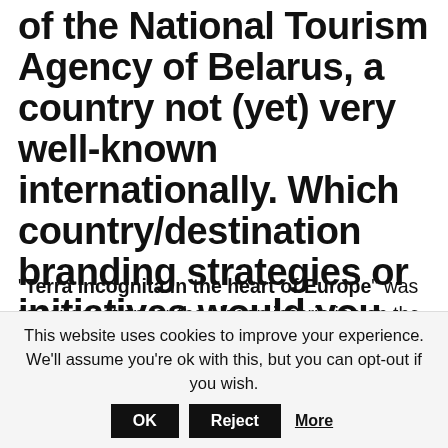of the National Tourism Agency of Belarus, a country not (yet) very well-known internationally. Which country/destination branding strategies or initiatives would you suggest to give its place brand a boost?
“Terra Incognita in the heart of Europe” was my suggestion for the slogan inscription on the tourism exhibition stand at WTM [World Travel Market] 2015 in
This website uses cookies to improve your experience. We'll assume you're ok with this, but you can opt-out if you wish.